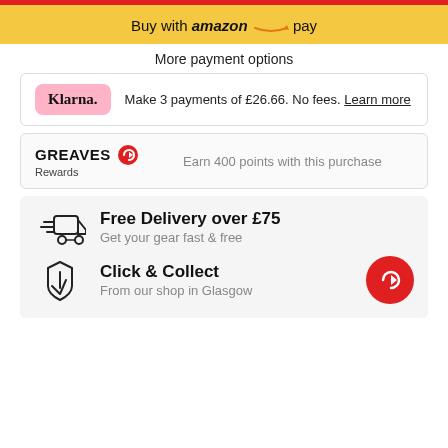[Figure (logo): Red horizontal bar at top]
[Figure (other): Buy with amazon pay button - yellow background with amazon logo arrow]
More payment options
[Figure (logo): Klarna logo pink rounded rectangle with text: Make 3 payments of £26.66. No fees. Learn more]
[Figure (logo): Greaves Rewards logo with red G icon. Earn 400 points with this purchase]
[Figure (infographic): Free Delivery over £75 - Get your gear fast & free. Click & Collect - From our shop in Glasgow. With delivery truck and shopping bag icons and red Greaves G circle logo.]